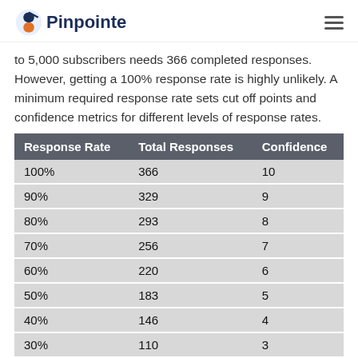Pinpointe
to 5,000 subscribers needs 366 completed responses. However, getting a 100% response rate is highly unlikely. A minimum required response rate sets cut off points and confidence metrics for different levels of response rates.
| Response Rate | Total Responses | Confidence |
| --- | --- | --- |
| 100% | 366 | 10 |
| 90% | 329 | 9 |
| 80% | 293 | 8 |
| 70% | 256 | 7 |
| 60% | 220 | 6 |
| 50% | 183 | 5 |
| 40% | 146 | 4 |
| 30% | 110 | 3 |
| 20% | 73 | 2 |
| 10% | 37 | 1 |